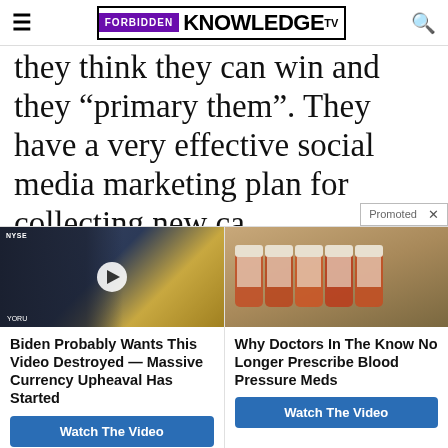FORBIDDEN KNOWLEDGE TV
they think they can win and they “primary them”. They have a very effective social media marketing plan for collecting new ca…
[Figure (screenshot): Promoted ad widget showing two ad cards side by side: left card with a video thumbnail of a man in a TV studio with NYSE ticker and a play button; right card with photo of prescription medication pill bottles]
Biden Probably Wants This Video Destroyed — Massive Currency Upheaval Has Started
Watch The Video
Why Doctors In The Know No Longer Prescribe Blood Pressure Meds
Watch The Video